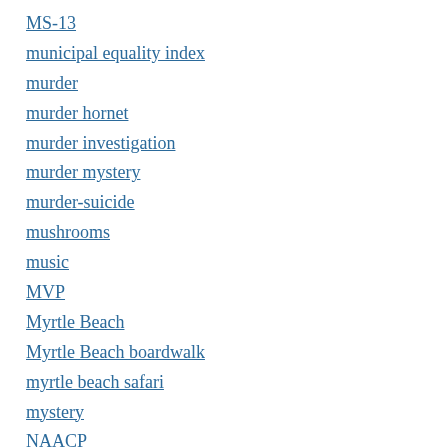MS-13
municipal equality index
murder
murder hornet
murder investigation
murder mystery
murder-suicide
mushrooms
music
MVP
Myrtle Beach
Myrtle Beach boardwalk
myrtle beach safari
mystery
NAACP